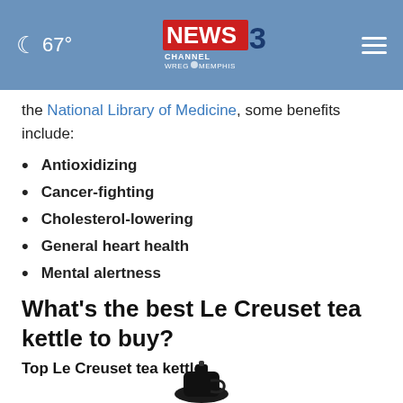NEWS CHANNEL 3 WREG MEMPHIS | ☾ 67°
the National Library of Medicine, some benefits include:
Antioxidizing
Cancer-fighting
Cholesterol-lowering
General heart health
Mental alertness
What's the best Le Creuset tea kettle to buy?
Top Le Creuset tea kettle
[Figure (photo): Partial view of a Le Creuset tea kettle product image at bottom of page]